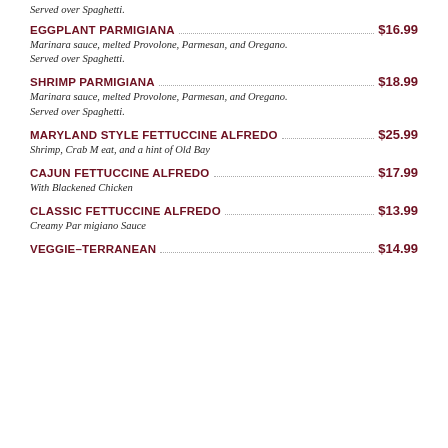Served over Spaghetti.
EGGPLANT PARMIGIANA $16.99 — Marinara sauce, melted Provolone, Parmesan, and Oregano. Served over Spaghetti.
SHRIMP PARMIGIANA $18.99 — Marinara sauce, melted Provolone, Parmesan, and Oregano. Served over Spaghetti.
MARYLAND STYLE FETTUCCINE ALFREDO $25.99 — Shrimp, Crab M eat, and a hint of Old Bay
CAJUN FETTUCCINE ALFREDO $17.99 — With Blackened Chicken
CLASSIC FETTUCCINE ALFREDO $13.99 — Creamy Par migiano Sauce
VEGGIE-TERRANEAN $14.99